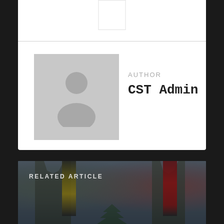[Figure (illustration): Gray placeholder avatar icon of a person silhouette]
AUTHOR
CST Admin
[Figure (photo): Blurred background photo of military soldiers in camouflage holding flags (yellow/black and red) with trees visible in background]
RELATED ARTICLE